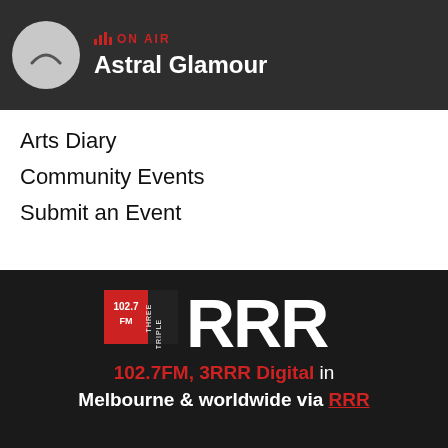ON AIR – Astral Glamour
Arts Diary
Community Events
Submit an Event
Shop
[Figure (logo): Triple RRR 102.7 FM logo — large bold white letters RRR with 'THREE TRIPLE' and '102.7 FM' branding on dark background]
102.7FM, 3RRR Digital in Melbourne & worldwide via RRR